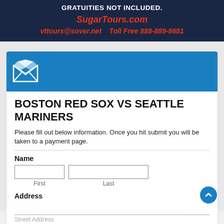GRATUITIES NOT INCLUDED.
SugarTours.com
vttours@sover.net    Toll Free 888-889-8681
[Figure (logo): White origami/envelope style logo icon on blue header background]
BOSTON RED SOX VS SEATTLE MARINERS
Please fill out below information. Once you hit submit you will be taken to a payment page.
Name — First, Last input fields
Address — Street Address input fields